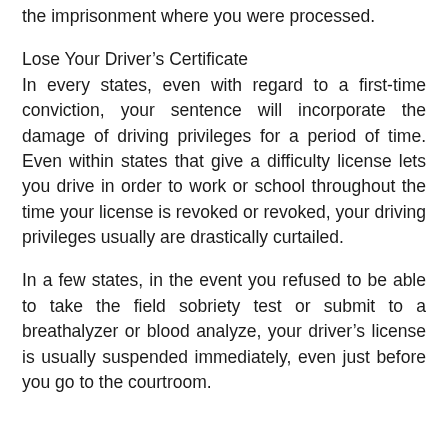the imprisonment where you were processed.
Lose Your Driver’s Certificate
In every states, even with regard to a first-time conviction, your sentence will incorporate the damage of driving privileges for a period of time. Even within states that give a difficulty license lets you drive in order to work or school throughout the time your license is revoked or revoked, your driving privileges usually are drastically curtailed.
In a few states, in the event you refused to be able to take the field sobriety test or submit to a breathalyzer or blood analyze, your driver’s license is usually suspended immediately, even just before you go to the courtroom.